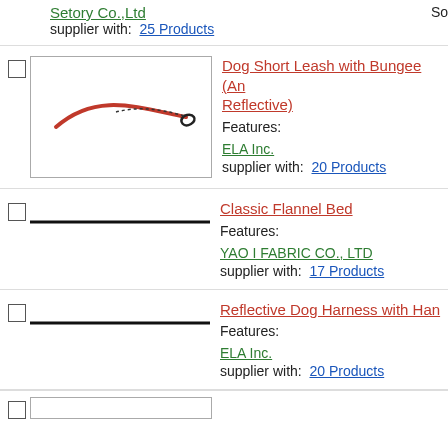Setory Co.,Ltd
supplier with:  25 Products   So
[Figure (photo): Product image showing a red and black bungee dog leash on white background]
Dog Short Leash with Bungee (An Reflective)
Features:
ELA Inc.
supplier with:  20 Products
[Figure (other): Black horizontal line placeholder for product image]
Classic Flannel Bed
Features:
YAO I FABRIC CO., LTD
supplier with:  17 Products
[Figure (other): Black horizontal line placeholder for product image]
Reflective Dog Harness with Han
Features:
ELA Inc.
supplier with:  20 Products